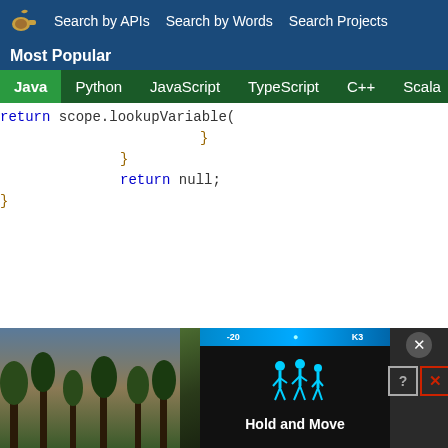Search by APIs  Search by Words  Search Projects
Most Popular
Java  Python  JavaScript  TypeScript  C++  Scala
[Figure (screenshot): Code snippet showing closing braces and return null statement in Java, with syntax highlighting. Keywords in blue, braces in olive/gold. Code: return scope.lookupVariable( (truncated), }, }, return null;, }]
[Figure (photo): Advertisement banner showing 'Hold and Move' with person icons and outdoor/trees background. Has close (X) and help (?) buttons.]